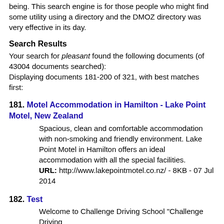being. This search engine is for those people who might find some utility using a directory and the DMOZ directory was very effective in its day.
Search Results
Your search for pleasant found the following documents (of 43004 documents searched): Displaying documents 181-200 of 321, with best matches first:
181. Motel Accommodation in Hamilton - Lake Point Motel, New Zealand
Spacious, clean and comfortable accommodation with non-smoking and friendly environment. Lake Point Motel in Hamilton offers an ideal accommodation with all the special facilities. URL: http://www.lakepointmotel.co.nz/ - 8KB - 07 Jul 2014
182. Test
Welcome to Challenge Driving School "Challenge Driving